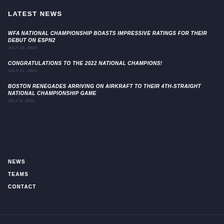LATEST NEWS
WFA NATIONAL CHAMPIONSHIP BOASTS IMPRESSIVE RATINGS FOR THEIR DEBUT ON ESPN2
JULY 16, 2022
CONGRATULATIONS TO THE 2022 NATIONAL CHAMPIONS!
JULY 11, 2022
BOSTON RENEGADES ARRIVING ON AIRKRAFT TO THEIR 4TH-STRAIGHT NATIONAL CHAMPIONSHIP GAME
JULY 8, 2022
NEWS
TEAMS
CONTACT